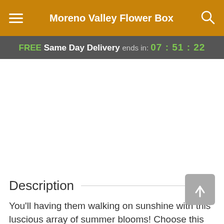Moreno Valley Flower Box
FREE Same Day Delivery ends in: 07 : 51 : 22
Description
You'll having them walking on sunshine with this luscious array of summer blooms! Choose this sunny blend of